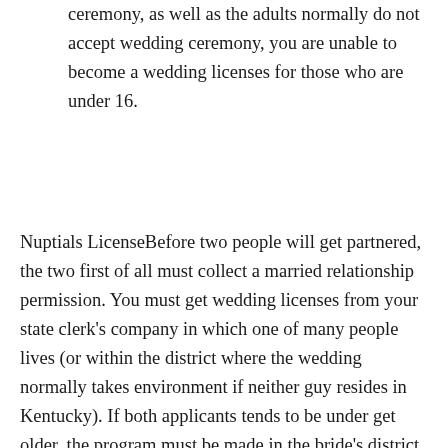ceremony, as well as the adults normally do not accept wedding ceremony, you are unable to become a wedding licenses for those who are under 16.
Nuptials LicenseBefore two people will get partnered, the two first of all must collect a married relationship permission. You must get wedding licenses from your state clerk’s company in which one of many people lives (or within the district where the wedding normally takes environment if neither guy resides in Kentucky). If both applicants tends to be under get older, the program must be made in the bride’s district of residence. To find a wedding certificate, you ought to fill in a written program, and you will need certainly to declare that all things in the program is true. The methods is available at state clerk’s company for your specific state. The required forms would include this information on each